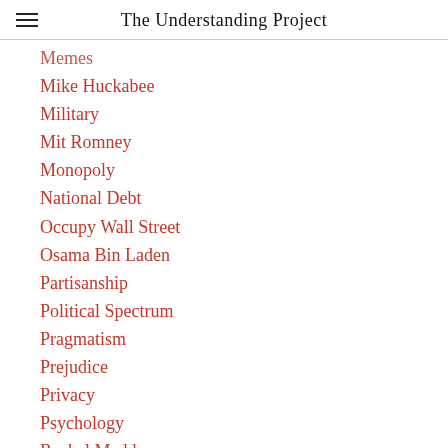The Understanding Project
Memes
Mike Huckabee
Military
Mit Romney
Monopoly
National Debt
Occupy Wall Street
Osama Bin Laden
Partisanship
Political Spectrum
Pragmatism
Prejudice
Privacy
Psychology
Rachel Maddow
Racism
Recession
Religion